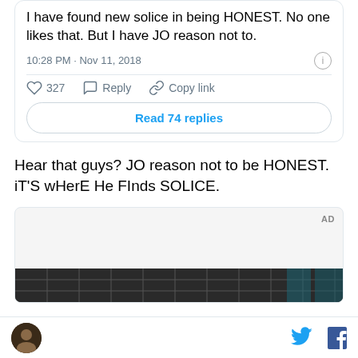[Figure (screenshot): Tweet card showing partial tweet text: 'I have found new solice in being HONEST. No one likes that. But I have JO reason not to.' with timestamp 10:28 PM · Nov 11, 2018, 327 likes, Reply, Copy link actions, and a 'Read 74 replies' button.]
Hear that guys? JO reason not to be HONEST. iT'S wHerE He FInds SOLICE.
[Figure (screenshot): Advertisement box with 'AD' label and a dark image strip at the bottom showing a building facade.]
Footer bar with avatar icon, Twitter bird icon, and Facebook f icon.